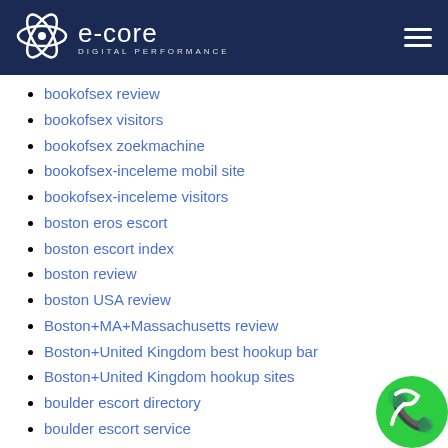e-core DIGITAL PERFORMANCE
bookofsex review
bookofsex visitors
bookofsex zoekmachine
bookofsex-inceleme mobil site
bookofsex-inceleme visitors
boston eros escort
boston escort index
boston review
boston USA review
Boston+MA+Massachusetts review
Boston+United Kingdom best hookup bar
Boston+United Kingdom hookup sites
boulder escort directory
boulder escort service
bournemouth UK reviews
brancher visitors
brazilcupid bezplatna aplikace
brazilcupid chat
brazilcupid cs review
brazilcupid inscribirse
brazilcupid it review